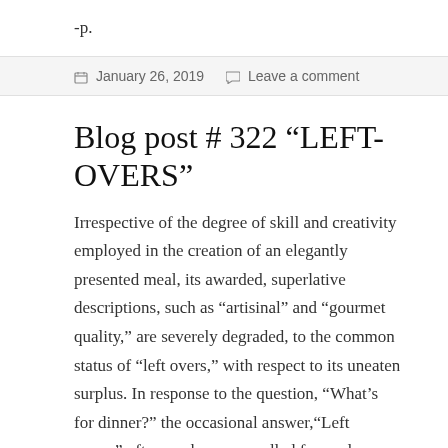-p.
January 26, 2019   Leave a comment
Blog post # 322 “LEFT-OVERS”
Irrespective of the degree of skill and creativity employed in the creation of an elegantly presented meal, its awarded, superlative descriptions, such as “artisinal” and “gourmet quality,” are severely degraded, to the common status of “left overs,” with respect to its uneaten surplus. In response to the question, “What’s for dinner?” the occasional answer,“Left overs,” often evokes an uncalled for, and manifestly unjust, expectation of an uninteresting and tiresome meal. The subject noun, in actual fact, is not, in essence, qualitative